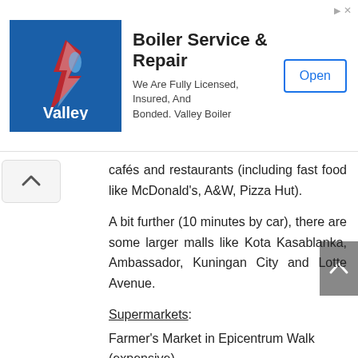[Figure (other): Advertisement banner for Valley Boiler Service & Repair. Shows Valley Boiler logo on blue background, text 'Boiler Service & Repair', 'We Are Fully Licensed, Insured, And Bonded. Valley Boiler', and an 'Open' button.]
cafés and restaurants (including fast food like McDonald's, A&W, Pizza Hut).
A bit further (10 minutes by car), there are some larger malls like Kota Kasablanka, Ambassador, Kuningan City and Lotte Avenue.
Supermarkets:
Farmer's Market in Epicentrum Walk (expensive)
Lotte Mart in Kuningan City (average)
Transmart Carrefour in ITC Kuningan (cheaper)
Restaurants:
The closest restaurants are located within